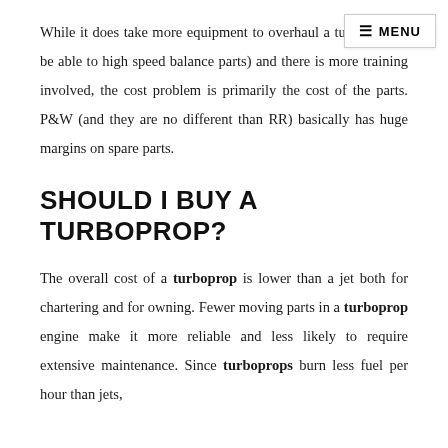While it does take more equipment to overhaul a tu… need to be able to high speed balance parts) and there is more training involved, the cost problem is primarily the cost of the parts. P&W (and they are no different than RR) basically has huge margins on spare parts.
SHOULD I BUY A TURBOPROP?
The overall cost of a turboprop is lower than a jet both for chartering and for owning. Fewer moving parts in a turboprop engine make it more reliable and less likely to require extensive maintenance. Since turboprops burn less fuel per hour than jets,